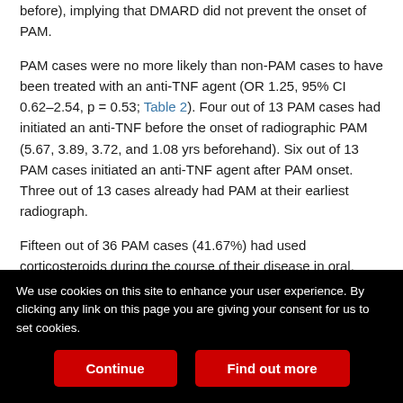before), implying that DMARD did not prevent the onset of PAM.
PAM cases were no more likely than non-PAM cases to have been treated with an anti-TNF agent (OR 1.25, 95% CI 0.62–2.54, p = 0.53; Table 2). Four out of 13 PAM cases had initiated an anti-TNF before the onset of radiographic PAM (5.67, 3.89, 3.72, and 1.08 yrs beforehand). Six out of 13 PAM cases initiated an anti-TNF agent after PAM onset. Three out of 13 cases already had PAM at their earliest radiograph.
Fifteen out of 36 PAM cases (41.67%) had used corticosteroids during the course of their disease in oral, intramuscular, or intravenous form (Table 2).
Radiographic characteristics of PAM
We use cookies on this site to enhance your user experience. By clicking any link on this page you are giving your consent for us to set cookies.